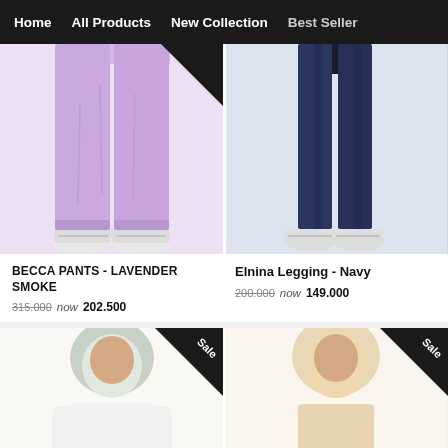Home   All Products   New Collection   Best Seller
[Figure (photo): Woman wearing lavender/purple wide-leg pants with white sneakers, lower body only visible]
[Figure (photo): Woman wearing navy leggings with white sneakers, lower body only visible]
BECCA PANTS - LAVENDER SMOKE
315.000  now202.500
Elnina Legging - Navy
200.000  now149.000
[Figure (photo): Woman wearing white long-sleeve top and dark pants with hijab, Sale badge in corner]
[Figure (photo): Woman wearing cream/beige hijab, Sale badge in corner]